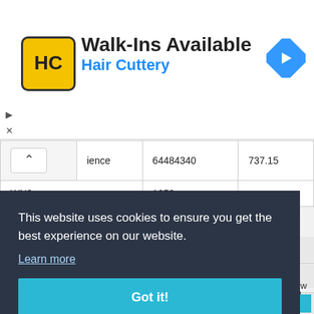[Figure (screenshot): Hair Cuttery advertisement banner with logo, 'Walk-Ins Available' text, 'Hair Cuttery' subtitle in blue, and a blue navigation arrow icon on the right.]
| ience | 64484340 | 737.15 |
| WN8 | 1953 |  |
[Figure (infographic): Six dot pagination indicator with first dot darker (active) and five lighter dots.]
This website uses cookies to ensure you get the best experience on our website.
Learn more
Got it!